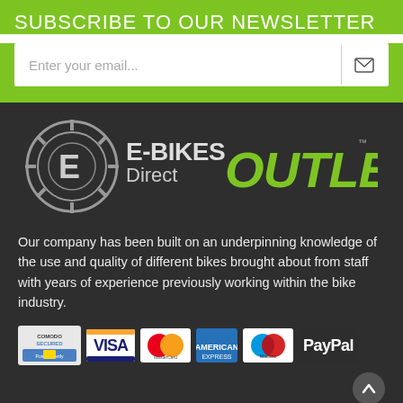SUBSCRIBE TO OUR NEWSLETTER
[Figure (other): Email input bar with envelope icon button]
[Figure (logo): E-Bikes Direct Outlet logo with gear icon and green graffiti-style OUTLET text]
Our company has been built on an underpinning knowledge of the use and quality of different bikes brought about from staff with years of experience previously working within the bike industry.
[Figure (other): Payment badges: Comodo Secured, Visa, MasterCard, American Express, Maestro, PayPal]
Learn More